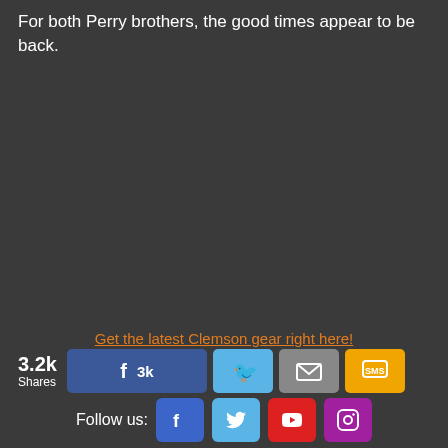For both Perry brothers, the good times appear to be back.
Get the latest Clemson gear right here!
3.2k Shares
Follow us: